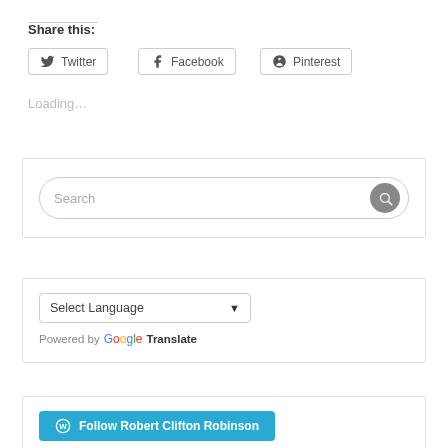Share this:
Twitter
Facebook
Pinterest
Loading…
[Figure (screenshot): Search widget box with search input and search button]
[Figure (screenshot): Google Translate widget with Select Language dropdown and Powered by Google Translate text]
[Figure (screenshot): Follow Robert Clifton Robinson button in teal/blue color with WordPress icon]